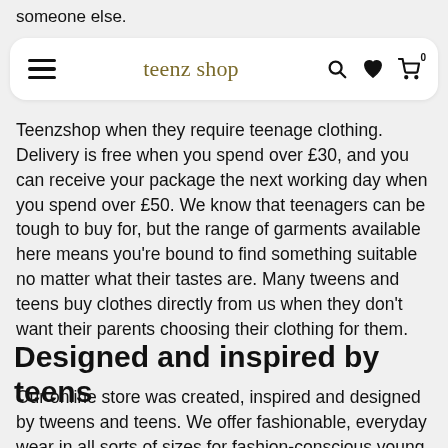someone else.
[Figure (screenshot): Teenz Shop navigation bar with hamburger menu, logo 'teenz shop', and icons for search, heart/wishlist, and shopping cart with 0 items]
Teenzshop when they require teenage clothing. Delivery is free when you spend over £30, and you can receive your package the next working day when you spend over £50. We know that teenagers can be tough to buy for, but the range of garments available here means you're bound to find something suitable no matter what their tastes are. Many tweens and teens buy clothes directly from us when they don't want their parents choosing their clothing for them.
Designed and inspired by teens
Our online store was created, inspired and designed by tweens and teens. We offer fashionable, everyday wear in all sorts of sizes for fashion-conscious young people searching for teenage